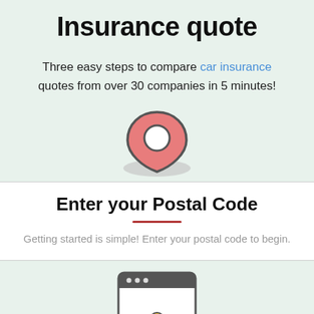Insurance quote
Three easy steps to compare car insurance quotes from over 30 companies in 5 minutes!
[Figure (illustration): A map pin / location marker icon in salmon/red color with a white circle cutout, above a grey oval shadow, on a light green background]
Enter your Postal Code
Getting started is simple! Enter your postal code to begin.
[Figure (illustration): A browser/screen icon with dots at top and a small yellow circle element, on a light green background at bottom of page]